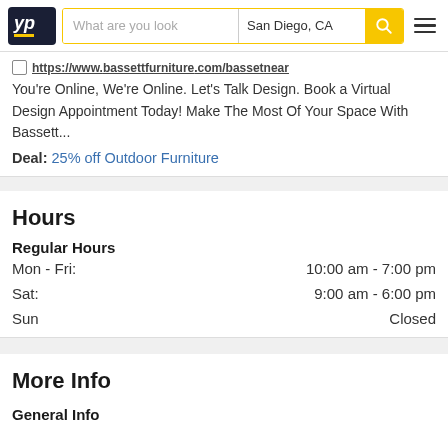YP | What are you look | San Diego, CA
https://www.bassettfurniture.com/bassetnear
You're Online, We're Online. Let's Talk Design. Book a Virtual Design Appointment Today! Make The Most Of Your Space With Bassett...
Deal: 25% off Outdoor Furniture
Hours
Regular Hours
Mon - Fri: 10:00 am - 7:00 pm
Sat: 9:00 am - 6:00 pm
Sun Closed
More Info
General Info